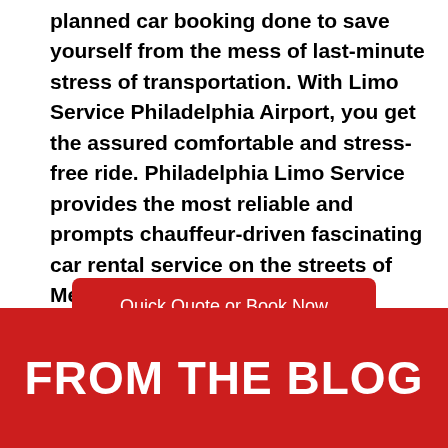planned car booking done to save yourself from the mess of last-minute stress of transportation. With Limo Service Philadelphia Airport, you get the assured comfortable and stress-free ride. Philadelphia Limo Service provides the most reliable and prompts chauffeur-driven fascinating car rental service on the streets of Merion Station, PA.
[Figure (other): Red rounded button with white text: Quick Quote or Book Now]
FROM THE BLOG